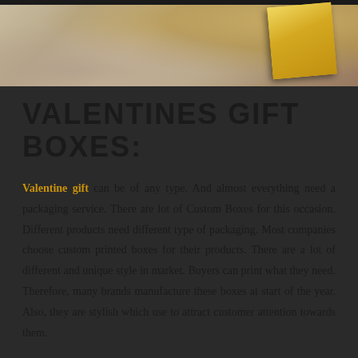[Figure (photo): Top portion of a gift box wrapped in gold/tan packaging with fabric background, dark themed page header with gold border stripe]
VALENTINES GIFT BOXES:
Valentine gift can be of any type. And almost everything need a packaging service. There are lot of Custom Boxes for this occasion. Different products need different type of packaging. Most companies choose custom printed boxes for their products. There are a lot of different and unique style in market. Buyers can print what they need. Therefore, many brands manufacture these boxes at start of the year. Also, they are stylish which use to attract customer attention towards them.